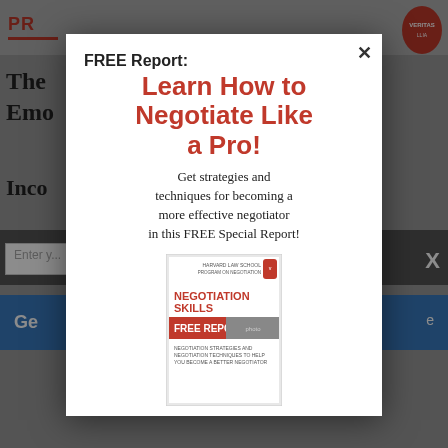[Figure (screenshot): Background webpage partially visible behind modal overlay, showing a website with red logo text 'PR', a Harvard shield, article title beginning 'The' and 'Emo', subtitle 'Inco...', an email input field, and a blue button starting with 'Ge']
FREE Report:
Learn How to Negotiate Like a Pro!
Get strategies and techniques for becoming a more effective negotiator in this FREE Special Report!
[Figure (illustration): Book cover for 'NEGOTIATION SKILLS FREE REPORT' with subtitle 'NEGOTIATION STRATEGIES AND NEGOTIATION TECHNIQUES TO HELP YOU BECOME A BETTER NEGOTIATOR', Harvard shield logo at top right, red banner, and photo of two people shaking hands]